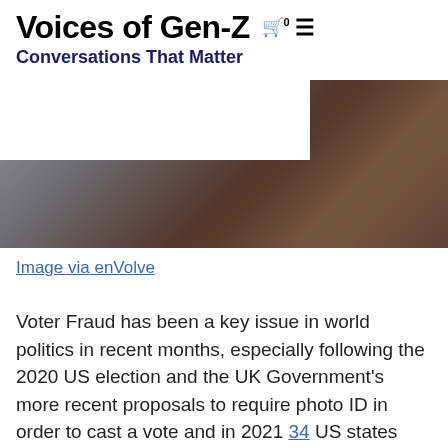Voices of Gen-Z — Conversations That Matter
[Figure (photo): Blurred/pixelated banner image showing people at a desk or event, partially obscured by a white header overlay]
Image via enVolve
Voter Fraud has been a key issue in world politics in recent months, especially following the 2020 US election and the UK Government's more recent proposals to require photo ID in order to cast a vote and in 2021 34 US states have some form of voter ID measures with a wide range of severity of policy; 14 states having tightened their policy with new laws this year alone. The introduction of hackable